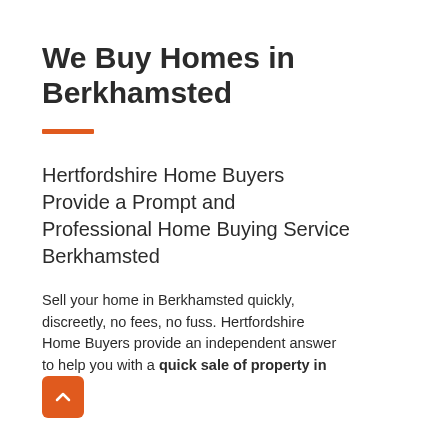We Buy Homes in Berkhamsted
Hertfordshire Home Buyers Provide a Prompt and Professional Home Buying Service Berkhamsted
Sell your home in Berkhamsted quickly, discreetly, no fees, no fuss. Hertfordshire Home Buyers provide an independent answer to help you with a quick sale of property in